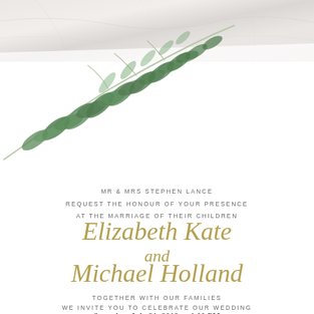[Figure (illustration): Watercolor botanical illustration of a green leafy branch with olive/eucalyptus style leaves on a marble banner background at the top of the wedding invitation]
MR & MRS STEPHEN LANCE
REQUEST THE HONOUR OF YOUR PRESENCE
AT THE MARRIAGE OF THEIR CHILDREN
Elizabeth Kate
and
Michael Holland
TOGETHER WITH OUR FAMILIES
WE INVITE YOU TO CELEBRATE OUR WEDDING
Saturday, July 21, 2018 at 4:00 PM